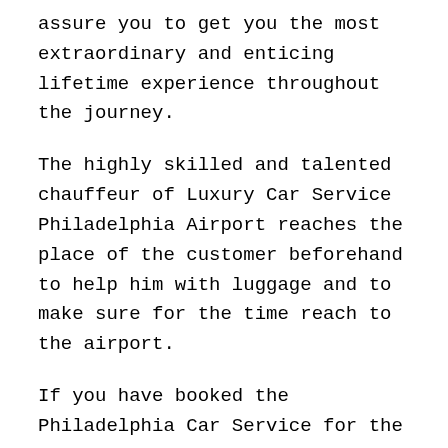assure you to get you the most extraordinary and enticing lifetime experience throughout the journey.
The highly skilled and talented chauffeur of Luxury Car Service Philadelphia Airport reaches the place of the customer beforehand to help him with luggage and to make sure for the time reach to the airport.
If you have booked the Philadelphia Car Service for the returning from Airport to Kunkletown, PA or any other place, or driver reaches the terminal with your sign to save you from waiting after a long tiring flight. You can relax your senses and recline within our exquisite and alluring ambiance of the car after the long tiring journey to Philadelphia...